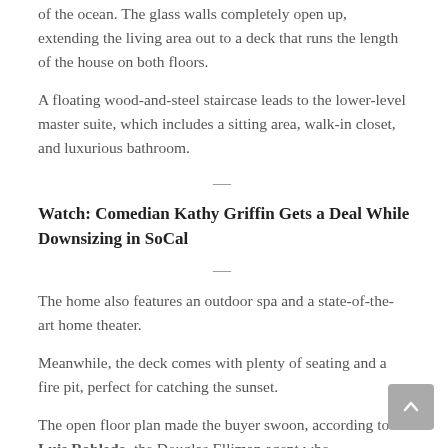of the ocean. The glass walls completely open up, extending the living area out to a deck that runs the length of the house on both floors.
A floating wood-and-steel staircase leads to the lower-level master suite, which includes a sitting area, walk-in closet, and luxurious bathroom.
Watch: Comedian Kathy Griffin Gets a Deal While Downsizing in SoCal
The home also features an outdoor spa and a state-of-the-art home theater.
Meanwhile, the deck comes with plenty of seating and a fire pit, perfect for catching the sunset.
The open floor plan made the buyer swoon, according to Luis Robledo, the Douglas Elliman agent who